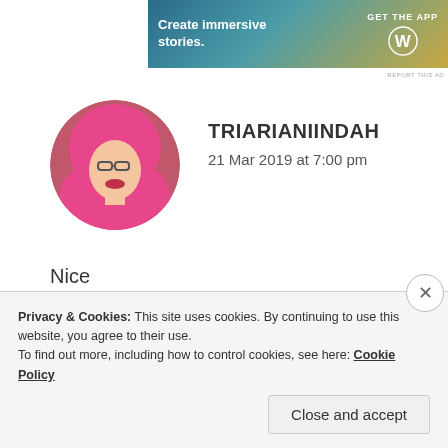[Figure (screenshot): WordPress advertisement banner: 'Create immersive stories. GET THE APP' with WordPress logo on teal/gold gradient background]
REPORT THIS AD
[Figure (photo): Circular avatar photo of a woman wearing a pink hijab and glasses]
TRIARIANIINDAH
21 Mar 2019 at 7:00 pm
Nice
★ Liked by 1 person
REPLY
Privacy & Cookies: This site uses cookies. By continuing to use this website, you agree to their use.
To find out more, including how to control cookies, see here: Cookie Policy
Close and accept